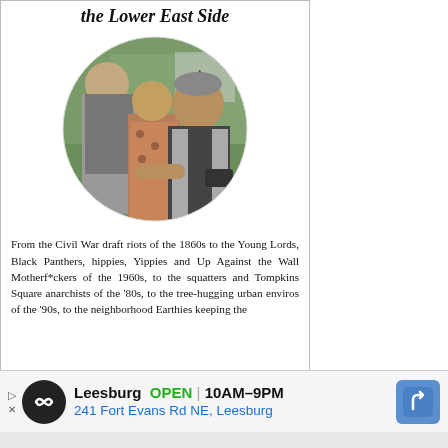the Lower East Side
[Figure (photo): Circular cropped photo of three people standing outdoors near a chain-link fence with greenery. A man in a gray vest and black shirt gestures while talking; behind him are a young man in gray shirt and a woman in a floral dress.]
From the Civil War draft riots of the 1860s to the Young Lords, Black Panthers, hippies, Yippies and Up Against the Wall Motherf*ckers of the 1960s, to the squatters and Tompkins Square anarchists of the '80s, to the tree-hugging urban enviros of the '90s, to the neighborhood Earthies keeping the
[Figure (infographic): Advertisement banner for Leesburg store showing logo, OPEN status, hours 10AM-9PM, address 241 Fort Evans Rd NE, Leesburg, and navigation icon.]